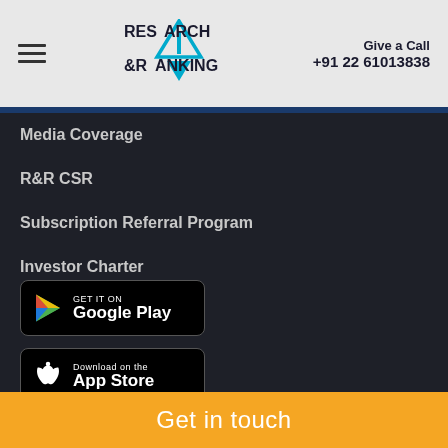Research & Ranking | Give a Call +91 22 61013838
Media Coverage
R&R CSR
Subscription Referral Program
Investor Charter
FAQ
[Figure (screenshot): GET IT ON Google Play store badge]
[Figure (screenshot): Download on the App Store badge]
Get in touch